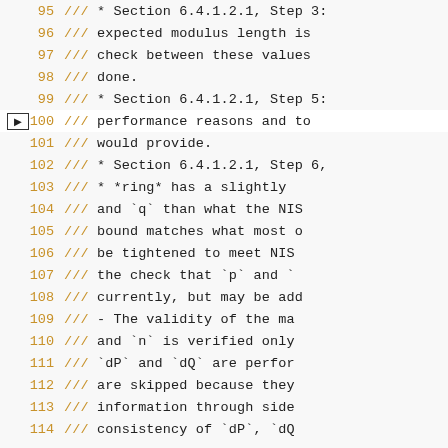[Figure (screenshot): Source code viewer showing lines 95 to 114 of a code file, with line numbers in orange and code comments in monospace font. Line 100 is highlighted with a right-pointing arrow marker on the left margin. The code contains triple-slash (///) comments discussing RSA key validation steps referencing NIST sections 6.4.1.2.1.]